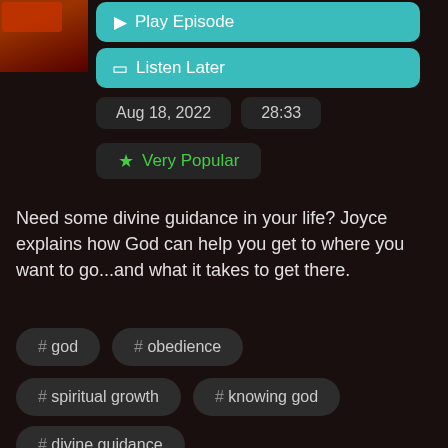[Figure (screenshot): Partial podcast episode thumbnail in top-left corner, dark red/orange]
▶ Play Episode
🔖 Listen Later
Aug 18, 2022   28:33
★ Very Popular
Need some divine guidance in your life? Joyce explains how God can help you get to where you want to go...and what it takes to get there.
# god
# obedience
# spiritual growth
# knowing god
# divine guidance